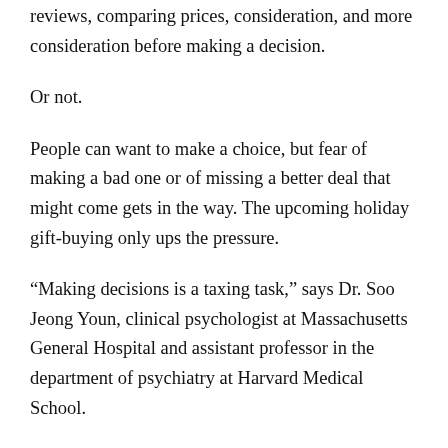reviews, comparing prices, consideration, and more consideration before making a decision.
Or not.
People can want to make a choice, but fear of making a bad one or of missing a better deal that might come gets in the way. The upcoming holiday gift-buying only ups the pressure.
“Making decisions is a taxing task,” says Dr. Soo Jeong Youn, clinical psychologist at Massachusetts General Hospital and assistant professor in the department of psychiatry at Harvard Medical School.
We’re doing it constantly, with what to wear and